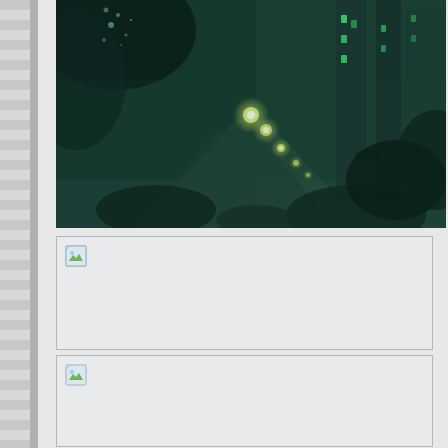[Figure (screenshot): Game screenshot showing an underwater/dark atmospheric environment with green-teal lighting, glowing orbs/lights along a path, rocks and structures visible in a murky environment]
[Figure (photo): Broken image placeholder with small image icon in top-left corner, large empty white/light gray rectangle]
[Figure (photo): Broken image placeholder with small image icon in top-left corner, partially visible at bottom of page]